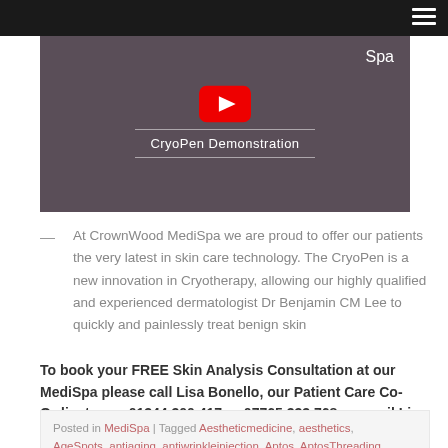Navigation bar with hamburger menu
[Figure (screenshot): YouTube video thumbnail showing CryoPen Demonstration with red play button, title 'CryoPen Demonstration', and 'Spa' text in top right on a dark mauve/grey background]
At CrownWood MediSpa we are proud to offer our patients the very latest in skin care technology. The CryoPen is a new innovation in Cryotherapy, allowing our highly qualified and experienced dermatologist Dr Benjamin CM Lee to quickly and painlessly treat benign skin
To book your FREE Skin Analysis Consultation at our MediSpa please call Lisa Bonello, our Patient Care Co-Ordinator on 01344 300 417 or 07765 333 768 or email Lisa at pc@crownwooddental.co.uk
Posted in MediSpa | Tagged Aestheticmedicine, aesthetics, AgeSpots, antiaging, antiwrinkleinjection, Aptos, AptosThreading,